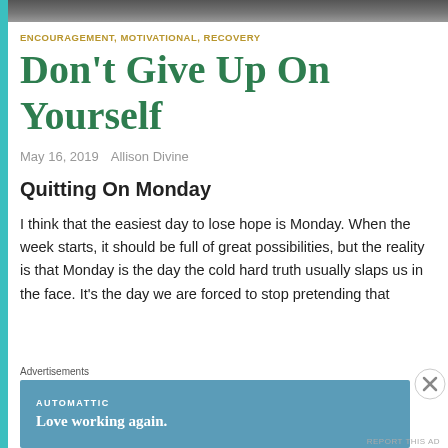[Figure (photo): Dark blurred header image strip at top of page]
ENCOURAGEMENT, MOTIVATIONAL, RECOVERY
Don't Give Up On Yourself
May 16, 2019    Allison Divine
Quitting On Monday
I think that the easiest day to lose hope is Monday. When the week starts, it should be full of great possibilities, but the reality is that Monday is the day the cold hard truth usually slaps us in the face. It's the day we are forced to stop pretending that
Advertisements
[Figure (screenshot): Automattic advertisement banner: 'Love working again.']